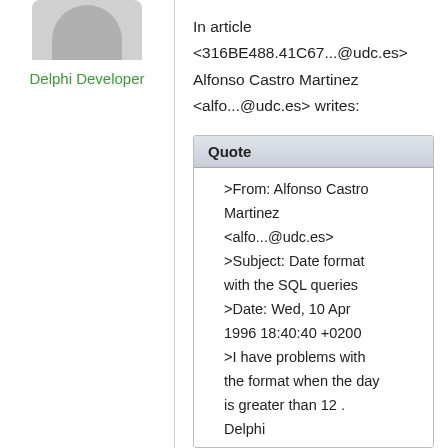[Figure (illustration): Gray avatar/silhouette image of a person (head and shoulders shape)]
Delphi Developer
In article
<316BE488.41C67...@udc.es>
Alfonso Castro Martinez
<alfo...@udc.es> writes:
| Quote |
| --- |
| >From: Alfonso Castro Martinez <alfo...@udc.es>
>Subject: Date format with the SQL queries
>Date: Wed, 10 Apr 1996 18:40:40 +0200
>I have problems with the format when the day is greater than 12 . Delphi
>gives me the error : Date not exist. Can someone help em with this. |